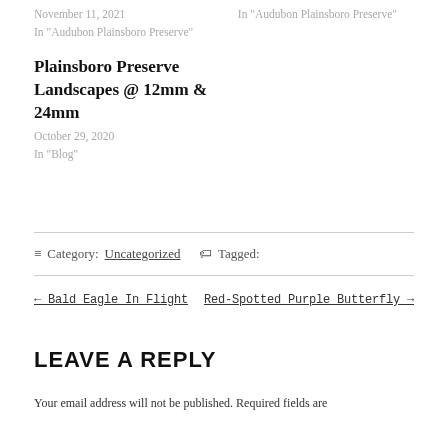November 11, 2021
In "Audubon Plainsboro Preserve"
In "Audubon Plainsboro Preserve"
Plainsboro Preserve Landscapes @ 12mm & 24mm
October 29, 2020
In "Blog"
☰ Category: Uncategorized 🏷 Tagged:
← Bald Eagle In Flight
Red-Spotted Purple Butterfly →
LEAVE A REPLY
Your email address will not be published. Required fields are